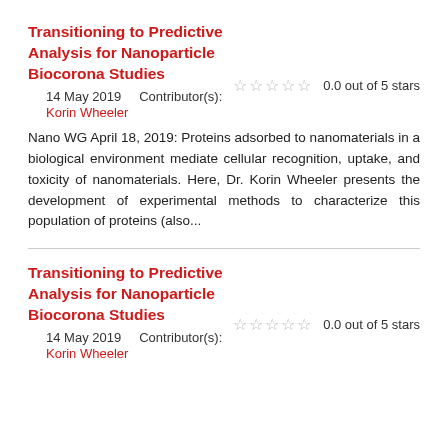Transitioning to Predictive Analysis for Nanoparticle Biocorona Studies
0.0 out of 5 stars
14 May 2019    Contributor(s):
Korin Wheeler
Nano WG April 18, 2019: Proteins adsorbed to nanomaterials in a biological environment mediate cellular recognition, uptake, and toxicity of nanomaterials. Here, Dr. Korin Wheeler presents the development of experimental methods to characterize this population of proteins (also...
Transitioning to Predictive Analysis for Nanoparticle Biocorona Studies
0.0 out of 5 stars
14 May 2019    Contributor(s):
Korin Wheeler